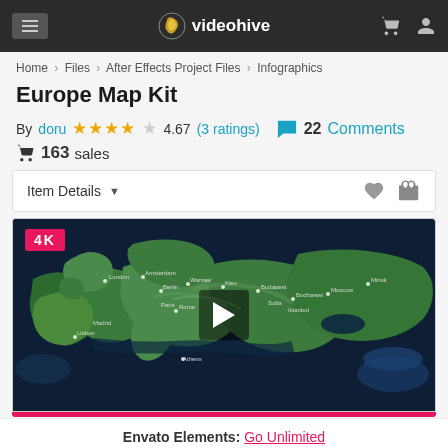videohive
Home > Files > After Effects Project Files > Infographics
Europe Map Kit
By doru   ★★★★☆ 4.67 (3 ratings)   💬 22 Comments   🛒 163 sales
Item Details ▼
[Figure (screenshot): Video preview of Europe Map Kit showing a 3D topographic map of Europe with city labels. A pink '4K' badge is in the top-left corner and a play button is in the center.]
Envato Elements: Go Unlimited